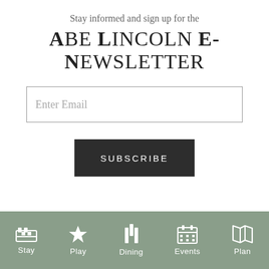Stay informed and sign up for the
Abe Lincoln E-Newsletter
Enter Email
SUBSCRIBE
Stay  Play  Dining  Events  Plan